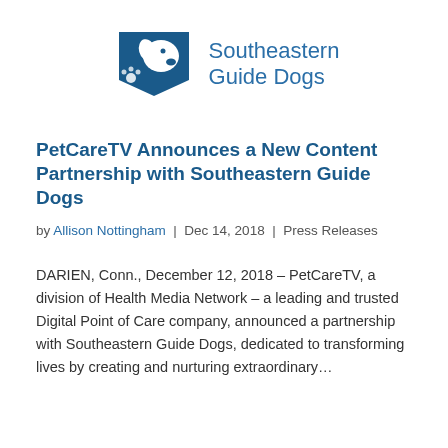[Figure (logo): Southeastern Guide Dogs logo: blue dog/paw icon with text 'Southeastern Guide Dogs' in blue]
PetCareTV Announces a New Content Partnership with Southeastern Guide Dogs
by Allison Nottingham | Dec 14, 2018 | Press Releases
DARIEN, Conn., December 12, 2018 – PetCareTV, a division of Health Media Network – a leading and trusted Digital Point of Care company, announced a partnership with Southeastern Guide Dogs, dedicated to transforming lives by creating and nurturing extraordinary…